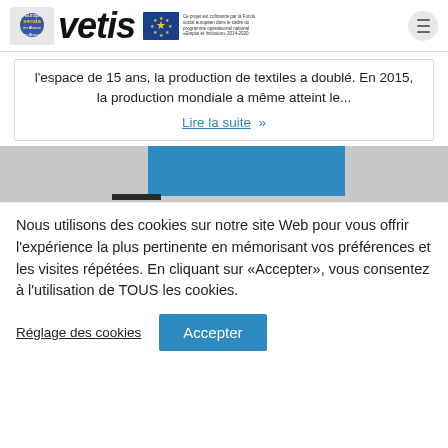vetis
l'espace de 15 ans, la production de textiles a doublé. En 2015, la production mondiale a même atteint le...
Lire la suite »
[Figure (photo): Partial image with a blue rectangle overlay and a dark bar]
Nous utilisons des cookies sur notre site Web pour vous offrir l'expérience la plus pertinente en mémorisant vos préférences et les visites répétées. En cliquant sur «Accepter», vous consentez à l'utilisation de TOUS les cookies.
Réglage des cookies
Accepter